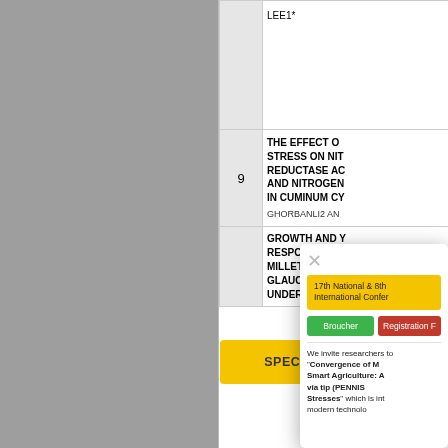|  | # | Title / Authors |
| --- | --- | --- |
|  |  | LEE1* |
|  | 9 | THE EFFECT OF [WATER] STRESS ON NIT[RATE] REDUCTASE AC[TIVITY] AND NITROGEN [...] IN CUMINUM CY[MINUM] |
|  |  | GHORBANLI2 AN[D ...] IN[...] |
|  |  | GROWTH AND Y[IELD] RESPONSES O[F] MILLET (PENNIS[ETUM GLAUCUM [L.] R[...] UNDER ARTIFICIA[L...] |
[Figure (screenshot): A popup dialog overlay showing conference information. Contains a yellow banner reading '17th National & 8th International Confer[ence...]', two buttons 'Broucher' (green) and 'Registration F[orm]' (red), a horizontal divider, and body text beginning 'We invite researchers to [...] "Convergence of M[achine Learning/...] Smart Agriculture: A[...] via [tip] [PENNIS...] Stresses" which is int[egrated with] modern technolo[gy...]'. Also shows a yellow 'SPECIAL ISSUE' badge.]
We invite researchers to "Convergence of M[...] Smart Agriculture: A[...] Stresses" which is int[egrated with] modern technolo[gy...]